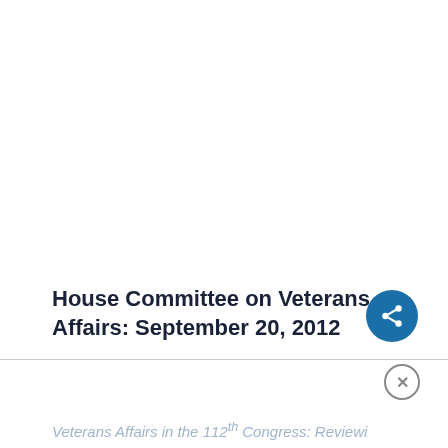House Committee on Veterans Affairs: September 20, 2012
Veterans Affairs in the 112th Congress: Reviewing